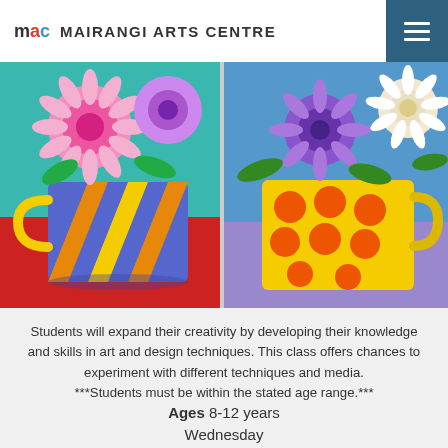mac MAIRANGI ARTS CENTRE
[Figure (illustration): Two colorful painted mugs with flowers: left mug has diagonal blue/orange/yellow stripes with pink dahlia flowers on teal background with red table; right mug is yellow with orange polka dots containing purple and white daisy flowers on blue-purple background]
Students will expand their creativity by developing their knowledge and skills in art and design techniques. This class offers chances to experiment with different techniques and media. ***Students must be within the stated age range.***
Ages 8-12 years
Wednesday